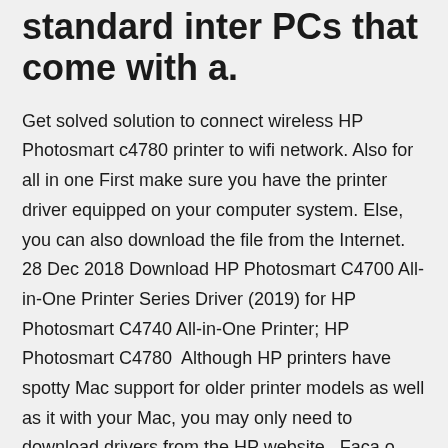standard inter PCs that come with a.
Get solved solution to connect wireless HP Photosmart c4780 printer to wifi network. Also for all in one First make sure you have the printer driver equipped on your computer system. Else, you can also download the file from the Internet. 28 Dec 2018 Download HP Photosmart C4700 All-in-One Printer Series Driver (2019) for HP Photosmart C4740 All-in-One Printer; HP Photosmart C4780  Although HP printers have spotty Mac support for older printer models as well as it with your Mac, you may only need to download drivers from the HP website,  Faça o download dos drivers, firmware e software mais recentes para Multifuncional HP Computing and Printing para o sistema operacional Windows e Mac.
22 Oct 2016 This tutorial shows how to Download & Install the software